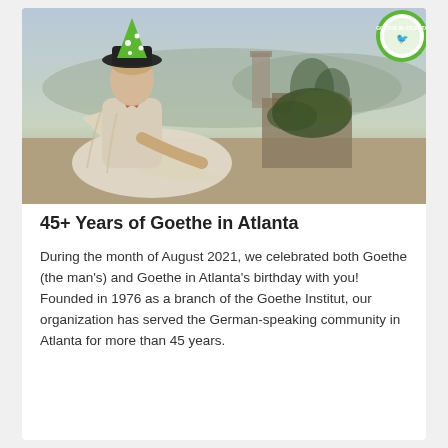[Figure (photo): Classical oil painting of Goethe reclining in white robes in a Roman landscape with ruins and trees, wearing a novelty green party hat. A circular green 'Goethe in Atlanta' logo badge appears in the top-right corner of the image.]
45+ Years of Goethe in Atlanta
During the month of August 2021, we celebrated both Goethe (the man's) and Goethe in Atlanta's birthday with you! Founded in 1976 as a branch of the Goethe Institut, our organization has served the German-speaking community in Atlanta for more than 45 years.